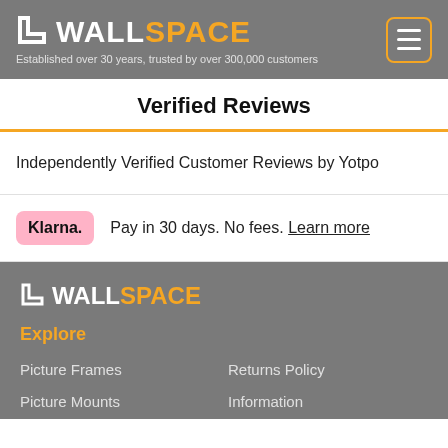[Figure (logo): WallSpace logo with white WALL and orange SPACE text, with tagline 'Established over 30 years, trusted by over 300,000 customers']
Verified Reviews
Independently Verified Customer Reviews by Yotpo
Klarna. Pay in 30 days. No fees. Learn more
[Figure (logo): WallSpace footer logo with white WALL and orange SPACE text]
Explore
Picture Frames
Returns Policy
Picture Mounts
Information